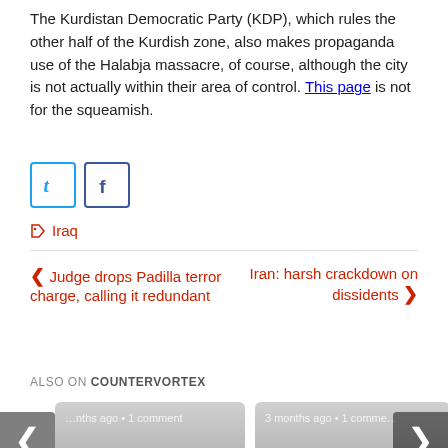The Kurdistan Democratic Party (KDP), which rules the other half of the Kurdish zone, also makes propaganda use of the Halabja massacre, of course, although the city is not actually within their area of control. This page is not for the squeamish.
[Figure (screenshot): Social media sharing icons: Twitter (t) and Facebook (f) buttons]
Iraq
< Judge drops Padilla terror charge, calling it redundant
Iran: harsh crackdown on dissidents >
ALSO ON COUNTERVORTEX
... nths ago • 1 comment — UN warns of 'catastrophic' crisis in Yemen
3 months ago • 1 comme... — US troops 'back' to Somalia —but did they ever ...